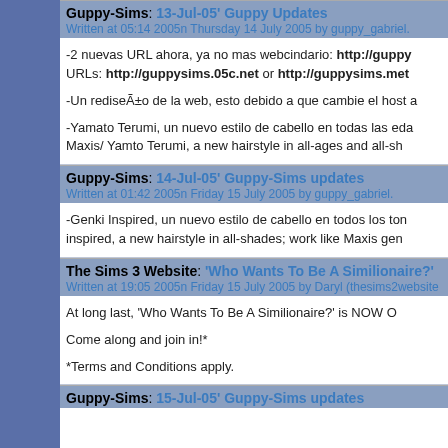Guppy-Sims: 13-Jul-05' Guppy Updates
Written at 05:14 2005n Thursday 14 July 2005 by guppy_gabriel.
-2 nuevas URL ahora, ya no mas webcindario: http://guppy URLs: http://guppysims.05c.net or http://guppysims.met
-Un rediseÃ±o de la web, esto debido a que cambie el host a
-Yamato Terumi, un nuevo estilo de cabello en todas las eda Maxis/ Yamto Terumi, a new hairstyle in all-ages and all-sh
Guppy-Sims: 14-Jul-05' Guppy-Sims updates
Written at 01:42 2005n Friday 15 July 2005 by guppy_gabriel.
-Genki Inspired, un nuevo estilo de cabello en todos los ton inspired, a new hairstyle in all-shades; work like Maxis gen
The Sims 3 Website: 'Who Wants To Be A Similionaire?'
Written at 19:05 2005n Friday 15 July 2005 by Daryl (thesims2website
At long last, 'Who Wants To Be A Similionaire?' is NOW O
Come along and join in!*
*Terms and Conditions apply.
Guppy-Sims: 15-Jul-05' Guppy-Sims updates